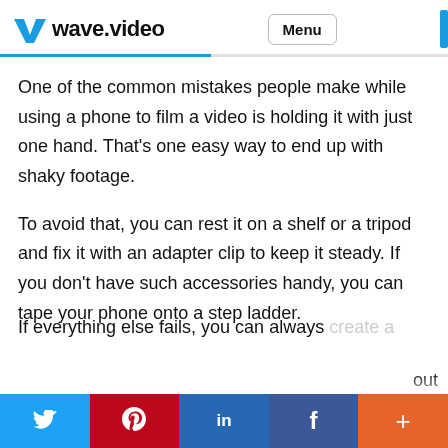wave.video  Menu
One of the common mistakes people make while using a phone to film a video is holding it with just one hand. That’s one easy way to end up with shaky footage.
To avoid that, you can rest it on a shelf or a tripod and fix it with an adapter clip to keep it steady. If you don’t have such accessories handy, you can tape your phone onto a step ladder.
If everything else fails, you can always create a ... out